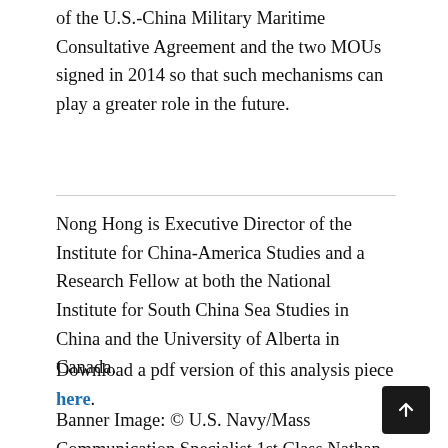of the U.S.-China Military Maritime Consultative Agreement and the two MOUs signed in 2014 so that such mechanisms can play a greater role in the future.
Nong Hong is Executive Director of the Institute for China-America Studies and a Research Fellow at both the National Institute for South China Sea Studies in China and the University of Alberta in Canada.
Download a pdf version of this analysis piece here.
Banner Image: © U.S. Navy/Mass Communication Specialist 1st Class Nathan Laird, U.S. Chief of